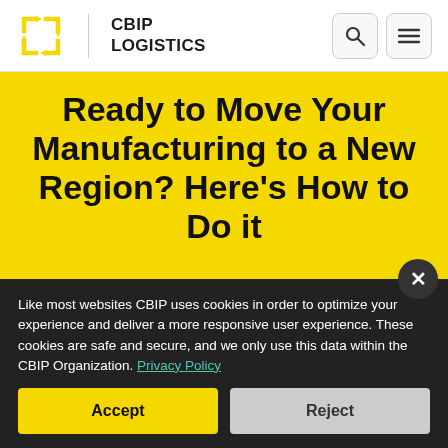CBIP LOGISTICS
Ready to Move Your Manufacturing to a New Region? Here's How to Do it
Home > Blogs
Like most websites CBIP uses cookies in order to optimize your experience and deliver a more responsive user experience. These cookies are safe and secure, and we only use this data within the CBIP Organization. Privacy Policy
Accept
Reject